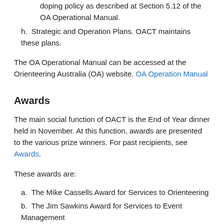doping policy as described at Section 5.12 of the OA Operational Manual.
h. Strategic and Operation Plans. OACT maintains these plans.
The OA Operational Manual can be accessed at the Orienteering Australia (OA) website. OA Operation Manual
Awards
The main social function of OACT is the End of Year dinner held in November. At this function, awards are presented to the various prize winners. For past recipients, see Awards.
These awards are:
a.  The Mike Cassells Award for Services to Orienteering
b.  The Jim Sawkins Award for Services to Event Management
c.  The Coaching Award